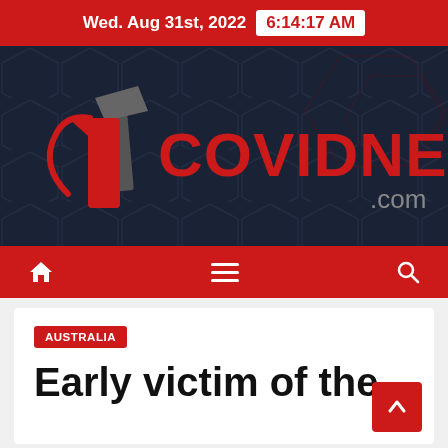Wed. Aug 31st, 2022  6:14:17 AM
[Figure (logo): 1CovidNews.com logo on dark navy hexagon-patterned background. Red stylized number 1 with swoosh, gray axe icon, red text COVIDNEWS, gray .com]
[Figure (other): Red navigation bar with home icon on left, hamburger menu icon in center, search icon on right]
AUSTRALIA
Early victim of the